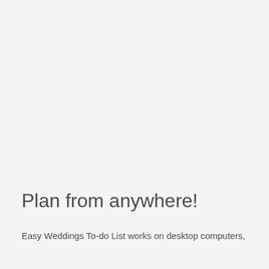Plan from anywhere!
Easy Weddings To-do List works on desktop computers,